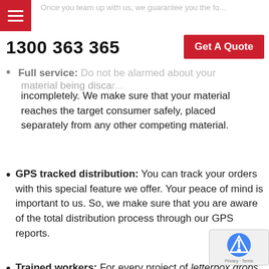Once you team up with us, we guarantee you the following:
1300 363 365
Get A Quote
Full service: Do not be alarmed about your material being discarded or delivered incompletely. We make sure that your material reaches the target consumer safely, placed separately from any other competing material.
GPS tracked distribution: You can track your orders with this special feature we offer. Your peace of mind is important to us. So, we make sure that you are aware of the total distribution process through our GPS reports.
Trained workers: For every project of letterbox drops in Travancore, we appoint highly trained professionals.
Ready to uphold your vision and make your voice heard? Contact us for unmatchable letterbox distribution so
Flyer Distribution Travancore
Letterbox Distribution Travancore